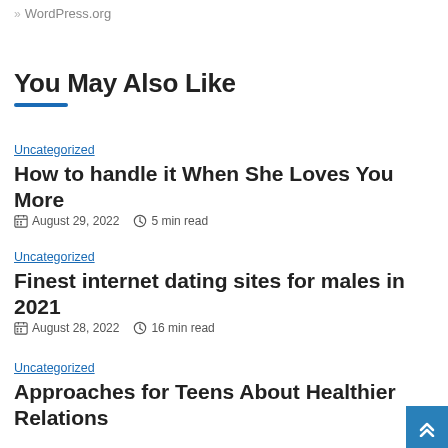» WordPress.org
You May Also Like
Uncategorized
How to handle it When She Loves You More
August 29, 2022  5 min read
Uncategorized
Finest internet dating sites for males in 2021
August 28, 2022  16 min read
Uncategorized
Approaches for Teens About Healthier Relations